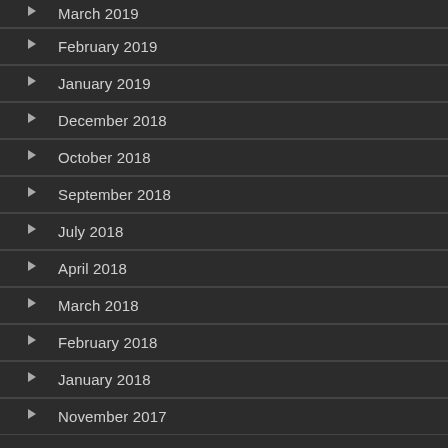March 2019
February 2019
January 2019
December 2018
October 2018
September 2018
July 2018
April 2018
March 2018
February 2018
January 2018
November 2017